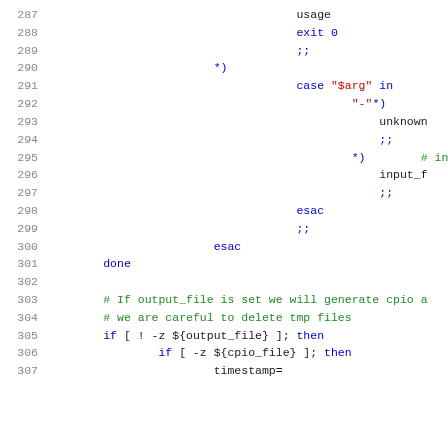[Figure (screenshot): Source code listing lines 287-307 of a shell script, showing case statement logic and file handling code with syntax highlighting: blue for keywords, red for strings, green for comments, black for identifiers.]